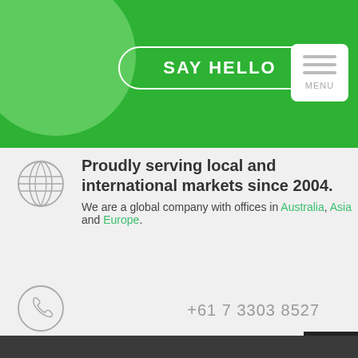[Figure (screenshot): Green header bar with a SAY HELLO button (white border, white text) and a MENU button (white box with gray lines) on the right. A lighter green circle decorates the left background.]
Proudly serving local and international markets since 2004.
We are a global company with offices in Australia, Asia and Europe.
+61 7 3303 8527
Email us here